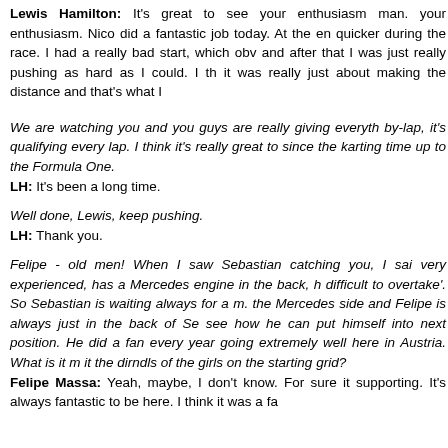Lewis Hamilton: It's great to see your enthusiasm man. your enthusiasm. Nico did a fantastic job today. At the end quicker during the race. I had a really bad start, which obv and after that I was just really pushing as hard as I could. I th it was really just about making the distance and that's what I
We are watching you and you guys are really giving everyth by-lap, it's qualifying every lap. I think it's really great to since the karting time up to the Formula One. LH: It's been a long time.
Well done, Lewis, keep pushing. LH: Thank you.
Felipe - old men! When I saw Sebastian catching you, I sai very experienced, has a Mercedes engine in the back, h difficult to overtake'. So Sebastian is waiting always for a m. the Mercedes side and Felipe is always just in the back of Se see how he can put himself into next position. He did a fan every year going extremely well here in Austria. What is it m it the dirndls of the girls on the starting grid? Felipe Massa: Yeah, maybe, I don't know. For sure it supporting. It's always fantastic to be here. I think it was a fa